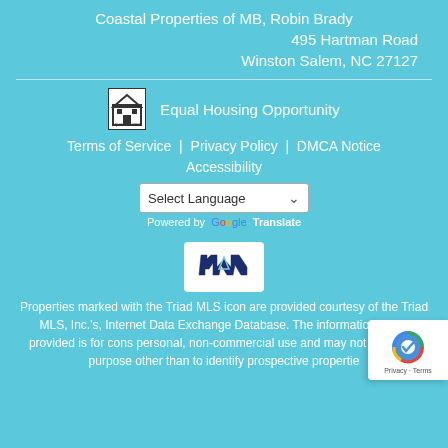Coastal Properties of MB, Robin Brady
495 Hartman Road
Winston Salem, NC 27127
[Figure (logo): Equal Housing Opportunity logo with house icon]
Equal Housing Opportunity
Terms of Service | Privacy Policy | DMCA Notice
Accessibility
[Figure (screenshot): Select Language dropdown with Google Translate]
[Figure (logo): North Carolina state outline logo in white box]
Properties marked with the Triad MLS icon are provided courtesy of the Triad MLS, Inc.'s, Internet Data Exchange Database. The information being provided is for consumer personal, non-commercial use and may not be used for any purpose other than to identify prospective properties